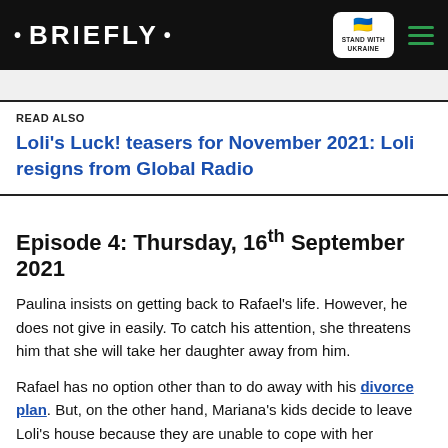• BRIEFLY •
READ ALSO
Loli's Luck! teasers for November 2021: Loli resigns from Global Radio
Episode 4: Thursday, 16th September 2021
Paulina insists on getting back to Rafael's life. However, he does not give in easily. To catch his attention, she threatens him that she will take her daughter away from him.
Rafael has no option other than to do away with his divorce plan. But, on the other hand, Mariana's kids decide to leave Loli's house because they are unable to cope with her lifestyle